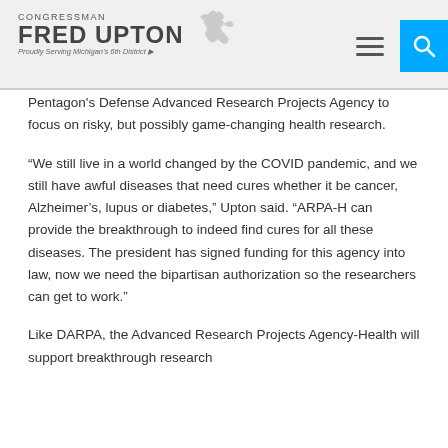CONGRESSMAN FRED UPTON — Proudly Serving Michigan's 6th District
Pentagon's Defense Advanced Research Projects Agency to focus on risky, but possibly game-changing health research.
“We still live in a world changed by the COVID pandemic, and we still have awful diseases that need cures whether it be cancer, Alzheimer’s, lupus or diabetes,” Upton said. “ARPA-H can provide the breakthrough to indeed find cures for all these diseases. The president has signed funding for this agency into law, now we need the bipartisan authorization so the researchers can get to work.”
Like DARPA, the Advanced Research Projects Agency-Health will support breakthrough research